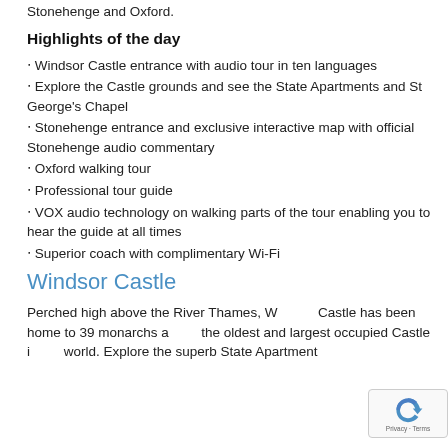Stonehenge and Oxford.
Highlights of the day
• Windsor Castle entrance with audio tour in ten languages
• Explore the Castle grounds and see the State Apartments and St George's Chapel
• Stonehenge entrance and exclusive interactive map with official Stonehenge audio commentary
• Oxford walking tour
• Professional tour guide
• VOX audio technology on walking parts of the tour enabling you to hear the guide at all times
• Superior coach with complimentary Wi-Fi
Windsor Castle
Perched high above the River Thames, Windsor Castle has been home to 39 monarchs and is the oldest and largest occupied Castle in the world. Explore the superb State Apartments...